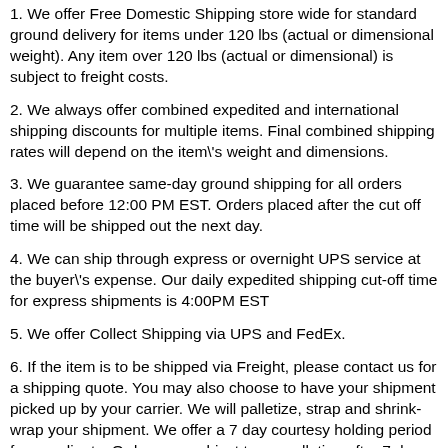1. We offer Free Domestic Shipping store wide for standard ground delivery for items under 120 lbs (actual or dimensional weight). Any item over 120 lbs (actual or dimensional) is subject to freight costs.
2. We always offer combined expedited and international shipping discounts for multiple items. Final combined shipping rates will depend on the item's weight and dimensions.
3. We guarantee same-day ground shipping for all orders placed before 12:00 PM EST. Orders placed after the cut off time will be shipped out the next day.
4. We can ship through express or overnight UPS service at the buyer's expense. Our daily expedited shipping cut-off time for express shipments is 4:00PM EST
5. We offer Collect Shipping via UPS and FedEx.
6. If the item is to be shipped via Freight, please contact us for a shipping quote. You may also choose to have your shipment picked up by your carrier. We will palletize, strap and shrink-wrap your shipment. We offer a 7 day courtesy holding period for our clients. Orders are subject to cancellation after 7 days with a 20% restocking fee.
7. INTERNATIONAL BUYERS: Import duties, taxes, and charges